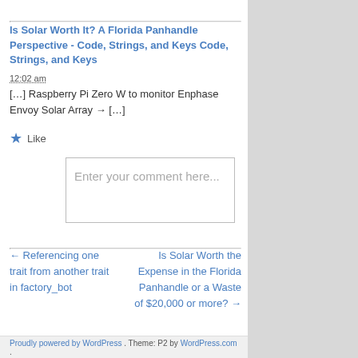Is Solar Worth It? A Florida Panhandle Perspective - Code, Strings, and Keys Code, Strings, and Keys
12:02 am
[…] Raspberry Pi Zero W to monitor Enphase Envoy Solar Array → […]
Like
Enter your comment here...
← Referencing one trait from another trait in factory_bot
Is Solar Worth the Expense in the Florida Panhandle or a Waste of $20,000 or more? →
Proudly powered by WordPress. Theme: P2 by WordPress.com.